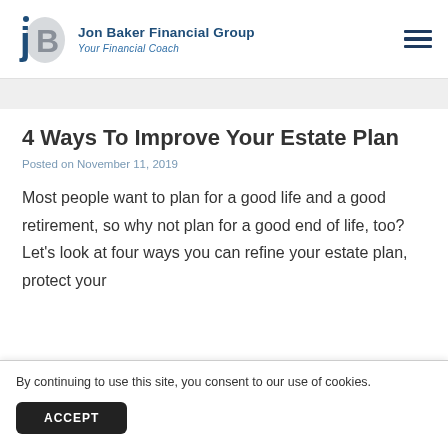[Figure (logo): Jon Baker Financial Group logo with stylized 'jB' letters and text 'Jon Baker Financial Group — Your Financial Coach']
4 Ways To Improve Your Estate Plan
Posted on November 11, 2019
Most people want to plan for a good life and a good retirement, so why not plan for a good end of life, too? Let's look at four ways you can refine your estate plan, protect your
By continuing to use this site, you consent to our use of cookies.